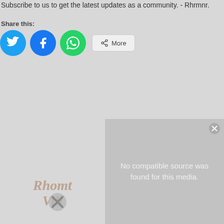Subscribe to us to get the latest updates as a community. - Rhrmnr.
Share this:
[Figure (screenshot): Social share buttons: Twitter (blue circle), Facebook (blue circle), WhatsApp (green circle), and a More button with share icon]
[Figure (screenshot): Video player overlay showing 'No compatible source was found for this media.' with a close button and watermark text 'RhombiVill' with an X mark]